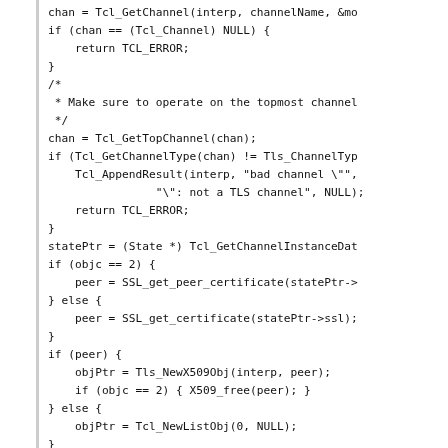[Figure (other): Source code snippet in C showing TLS/SSL channel handling with Tcl API calls]